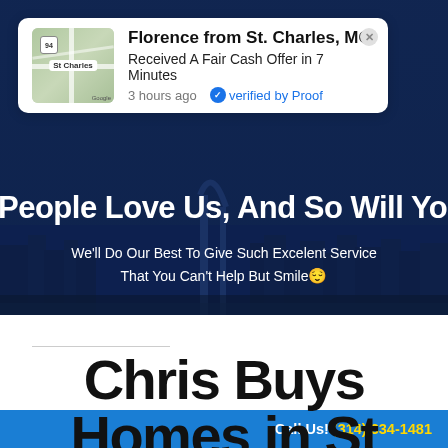[Figure (screenshot): Notification popup: Florence from St. Charles, MO received a fair cash offer in 7 minutes, 3 hours ago, verified by Proof. Map thumbnail of St Charles area shown.]
People Love Us, And So Will You! 😊
We'll Do Our Best To Give Such Excelent Service That You Can't Help But Smile 😌
Chris Buys Homes in St
Call Us! (314) 334-1481